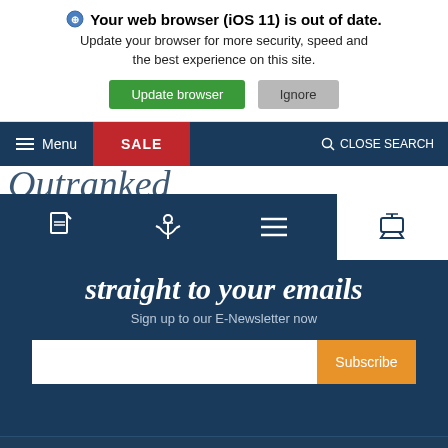Your web browser (iOS 11) is out of date. Update your browser for more security, speed and the best experience on this site.
Update browser
Ignore
Menu | SALE | CLOSE SEARCH
[Figure (screenshot): Mobile navigation icon bar with document, anchor, menu, and ship icons on dark blue background]
straight to your emails
Sign up to our E-Newsletter now
Subscribe
Important Information